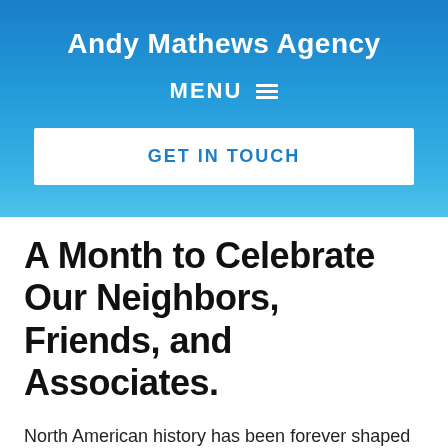Andy Mathews Agency
MENU ☰
GET IN TOUCH
A Month to Celebrate Our Neighbors, Friends, and Associates.
North American history has been forever shaped by the contributions of immigrants from Asia, the Pacific, and